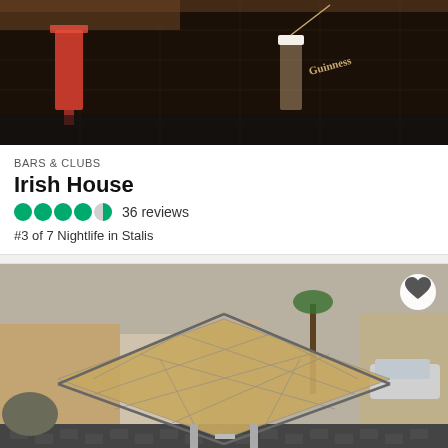[Figure (photo): Photo of a bar counter with drinks including a red cocktail and a Guinness glass on a dark grid surface]
BARS & CLUBS
Irish House
4.5 stars — 36 reviews
#3 of 7 Nightlife in Stalis
[Figure (photo): Photo of Roman archaeological mosaic floor remains protected under a metal frame structure, with a street and buildings visible in background]
ANCIENT RUINS
Roman Archaeological Remains
4 stars — 47 reviews